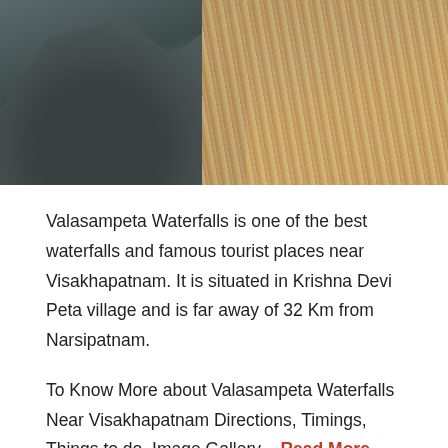[Figure (photo): Photograph of Valasampeta Waterfalls showing dark rocks and rushing muddy water]
Valasampeta Waterfalls is one of the best waterfalls and famous tourist places near Visakhapatnam. It is situated in Krishna Devi Peta village and is far away of 32 Km from Narsipatnam.
To Know More about Valasampeta Waterfalls Near Visakhapatnam Directions, Timings, Things to do, Image Gallery – Read More
24. Rampa Waterfalls